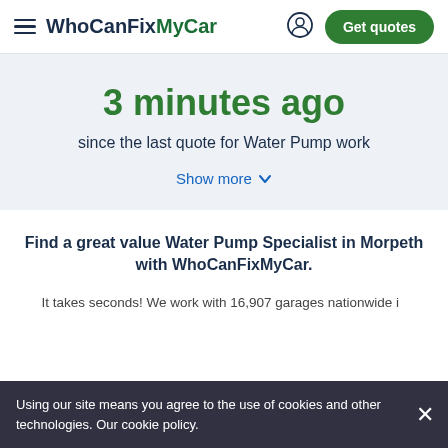WhoCanFixMyCar  Get quotes
3 minutes ago
since the last quote for Water Pump work
Show more
Find a great value Water Pump Specialist in Morpeth with WhoCanFixMyCar.
It takes seconds! We work with 16,907 garages nationwide in
Using our site means you agree to the use of cookies and other technologies. Our cookie policy.